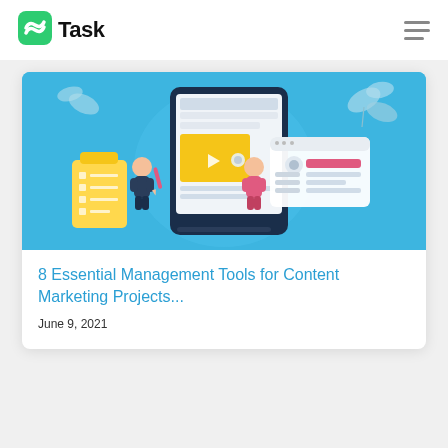nTask
[Figure (illustration): Blue background illustration showing a tablet/phone with content management UI elements, two cartoon people working, leaves, and a checklist on yellow and blue background]
8 Essential Management Tools for Content Marketing Projects...
June 9, 2021